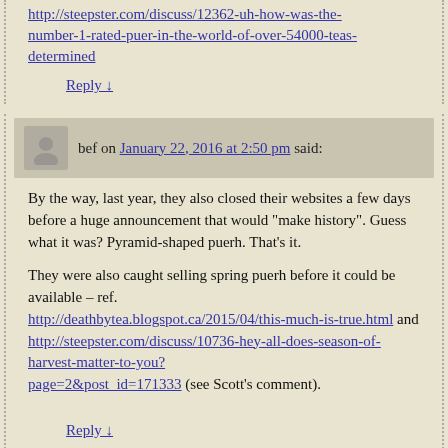http://steepster.com/discuss/12362-uh-how-was-the-number-1-rated-puer-in-the-world-of-over-54000-teas-determined
Reply ↓
bef on January 22, 2016 at 2:50 pm said:
By the way, last year, they also closed their websites a few days before a huge announcement that would "make history". Guess what it was? Pyramid-shaped puerh. That's it.
They were also caught selling spring puerh before it could be available – ref. http://deathbytea.blogspot.ca/2015/04/this-much-is-true.html and http://steepster.com/discuss/10736-hey-all-does-season-of-harvest-matter-to-you?page=2&post_id=171333 (see Scott's comment).
Reply ↓
J.R. on January 22, 2016 at 3:40 pm said: